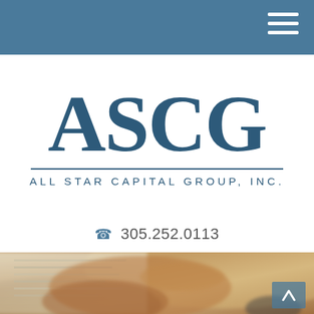Navigation bar with hamburger menu
[Figure (logo): ASCG All Star Capital Group, Inc. logo — large serif letters ASCG above a horizontal rule and the text ALL STAR CAPITAL GROUP, INC.]
305.252.0113
[Figure (photo): Close-up blurred photo of a person's hands on documents/keyboard on a wooden surface]